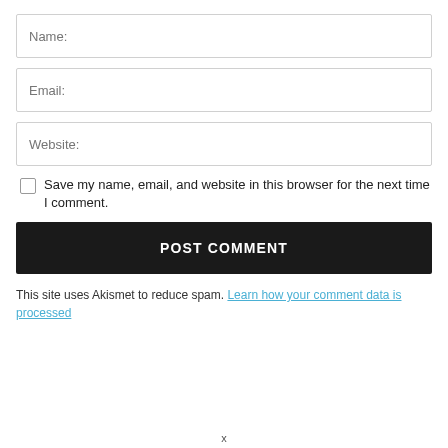Name:
Email:
Website:
Save my name, email, and website in this browser for the next time I comment.
POST COMMENT
This site uses Akismet to reduce spam. Learn how your comment data is processed.